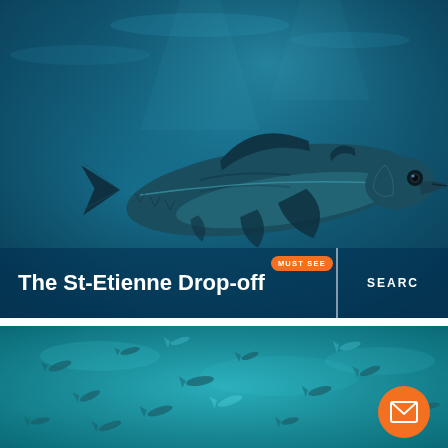[Figure (photo): Underwater photo of a large tuna fish swimming in deep blue ocean water, viewed from the side against a turquoise/teal background]
The St-Etienne Drop-off
MUST SEE
SEARCH
[Figure (photo): Underwater teal/turquoise ocean scene showing fish silhouettes in the water, with an orange circular email/envelope button in the bottom right corner]